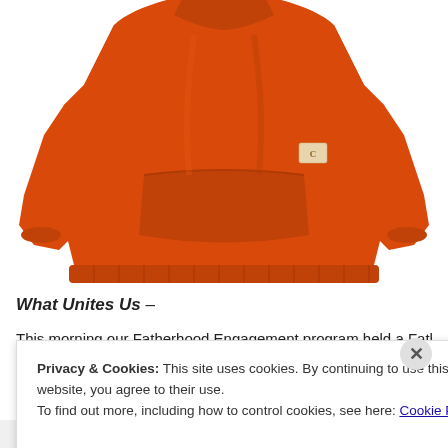[Figure (photo): Orange Carhartt crewneck sweatshirt with kangaroo pocket and small Carhartt logo patch on the chest, displayed on white background]
What Unites Us –
This morning our Fatherhood Engagement program held a Father-Chil...
Privacy & Cookies: This site uses cookies. By continuing to use this website, you agree to their use.
To find out more, including how to control cookies, see here: Cookie Policy
Close and accept